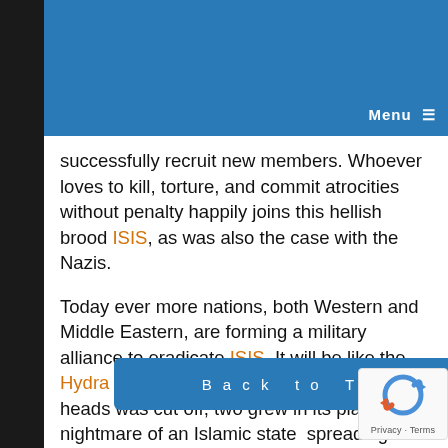Menu ≡
successfully recruit new members. Whoever loves to kill, torture, and commit atrocities without penalty happily joins this hellish brood ISIS, as was also the case with the Nazis.
Today ever more nations, both Western and Middle Eastern, are forming a military alliance to eradicate ISIS. It will be like the Hydra of Greek Mythology – when one of her heads was cut off, two grew in its place. This nightmare of an Islamic state  spreading across the globe will not disappear and will cause more and more nations to join in the effort to p
The Book...tes that
Back to Top